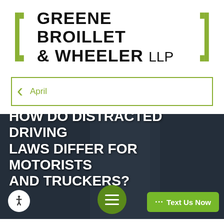[Figure (logo): Greene Broillet & Wheeler LLP law firm logo with green bracket marks on either side of the firm name]
April
[Figure (photo): Dark hero image with white bold text overlay reading: HOW DO DISTRACTED DRIVING LAWS DIFFER FOR MOTORISTS AND TRUCKERS? with accessibility icon, hamburger menu button, and Text Us Now CTA button]